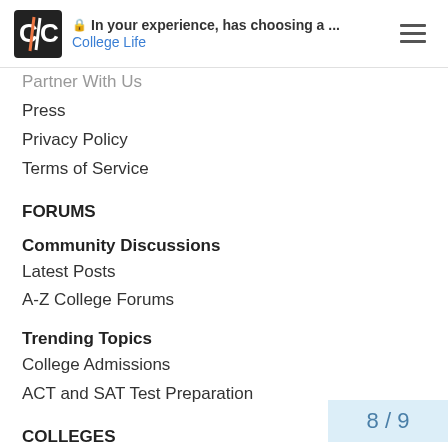In your experience, has choosing a ... | College Life
Partner With Us
Press
Privacy Policy
Terms of Service
FORUMS
Community Discussions
Latest Posts
A-Z College Forums
Trending Topics
College Admissions
ACT and SAT Test Preparation
COLLEGES
Applying to College
2021 Deadlines
8 / 9